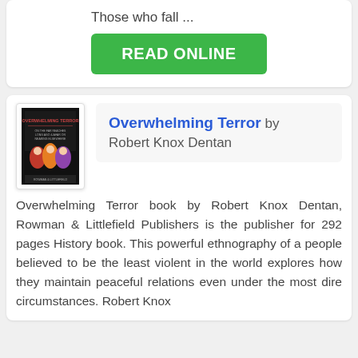Those who fall ...
READ ONLINE
Overwhelming Terror by Robert Knox Dentan
[Figure (illustration): Book cover of 'Overwhelming Terror' with dark background and colorful imagery]
Overwhelming Terror book by Robert Knox Dentan, Rowman & Littlefield Publishers is the publisher for 292 pages History book. This powerful ethnography of a people believed to be the least violent in the world explores how they maintain peaceful relations even under the most dire circumstances. Robert Knox